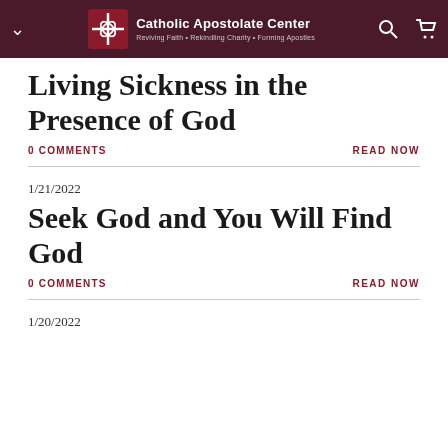Catholic Apostolate Center — Reviving Faith · Rekindling Charity · Forming Apostles
Living Sickness in the Presence of God
0 COMMENTS
READ NOW
1/21/2022
Seek God and You Will Find God
0 COMMENTS
READ NOW
1/20/2022